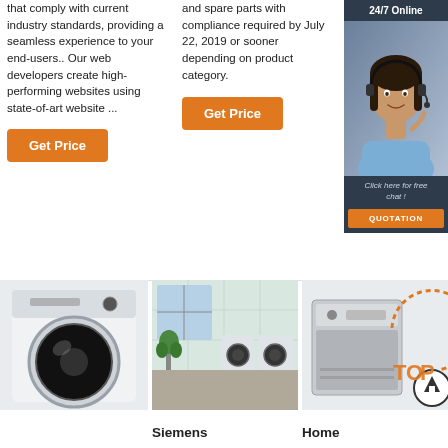that comply with current industry standards, providing a seamless experience to your end-users.. Our web developers create high-performing websites using state-of-art website ...
Get Price
and spare parts with compliance required by July 22, 2019 or sooner depending on product category.
Get Price
[Figure (photo): Customer service representative with headset, 24/7 Online chat widget with QUOTATION button]
[Figure (photo): White front-loading washing machine]
[Figure (photo): Laundry room with washing machines - Siemens]
[Figure (photo): Home appliance dishwasher with TOP badge overlay]
Siemens
Home